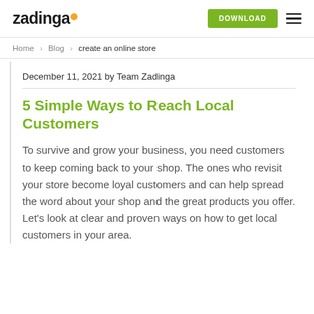zadinga  DOWNLOAD
Home > Blog > create an online store
December 11, 2021 by Team Zadinga
5 Simple Ways to Reach Local Customers
To survive and grow your business, you need customers to keep coming back to your shop. The ones who revisit your store become loyal customers and can help spread the word about your shop and the great products you offer. Let's look at clear and proven ways on how to get local customers in your area.